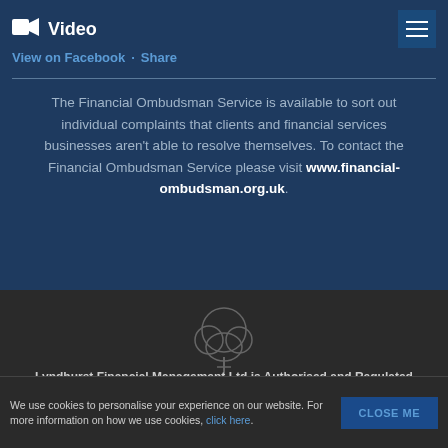Video
View on Facebook · Share
The Financial Ombudsman Service is available to sort out individual complaints that clients and financial services businesses aren't able to resolve themselves. To contact the Financial Ombudsman Service please visit www.financial-ombudsman.org.uk.
[Figure (illustration): Outline illustration of a tree in light grey on dark background — Lyndhurst Financial Management logo]
Lyndhurst Financial Management Ltd is Authorised and Regulated
We use cookies to personalise your experience on our website. For more information on how we use cookies, click here.